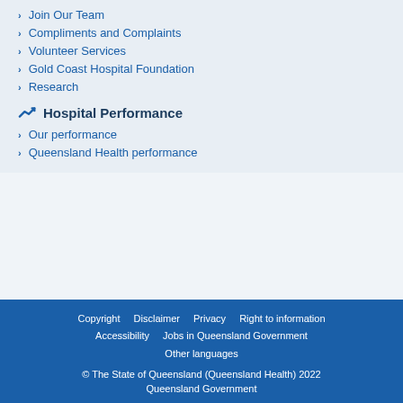Join Our Team
Compliments and Complaints
Volunteer Services
Gold Coast Hospital Foundation
Research
Hospital Performance
Our performance
Queensland Health performance
Copyright   Disclaimer   Privacy   Right to information   Accessibility   Jobs in Queensland Government   Other languages
© The State of Queensland (Queensland Health) 2022
Queensland Government